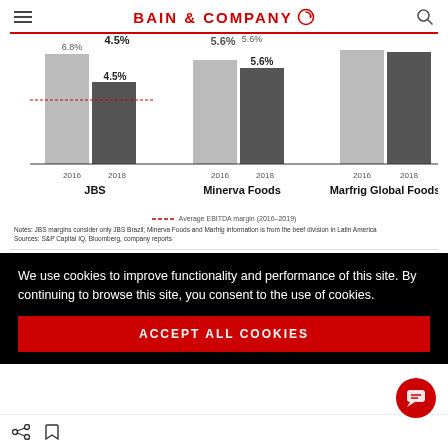BAIN & COMPANY
[Figure (grouped-bar-chart): EBITDA margins comparison 2016 vs 2018]
Average EBITDA margin (2016–2019)
Notes: JBS margins consider only JBS Brazil; Minerva Foods and Marfrig information is from the beef division in Latin America
Sources: S&P Capital IQ, Bloomberg, company reports
We use cookies to improve functionality and performance of this site. By continuing to browse this site, you consent to the use of cookies.
ACCEPT ALL COOKIES